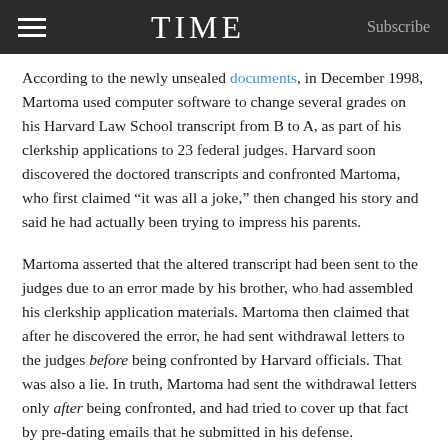TIME  Subscribe
According to the newly unsealed documents, in December 1998, Martoma used computer software to change several grades on his Harvard Law School transcript from B to A, as part of his clerkship applications to 23 federal judges. Harvard soon discovered the doctored transcripts and confronted Martoma, who first claimed “it was all a joke,” then changed his story and said he had actually been trying to impress his parents.
Martoma asserted that the altered transcript had been sent to the judges due to an error made by his brother, who had assembled his clerkship application materials. Martoma then claimed that after he discovered the error, he had sent withdrawal letters to the judges before being confronted by Harvard officials. That was also a lie. In truth, Martoma had sent the withdrawal letters only after being confronted, and had tried to cover up that fact by pre-dating emails that he submitted in his defense.